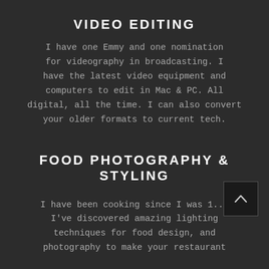VIDEO EDITING
I have one Emmy and one nomination for videography in broadcasting. I have the latest video equipment and computers to edit in Mac & PC. All digital, all the time. I can also convert your older formats to current tech.
FOOD PHOTOGRAPHY & STYLING
I have been cooking since I was 1... I've discovered amazing lighting techniques for food design, and photography to make your restaurant